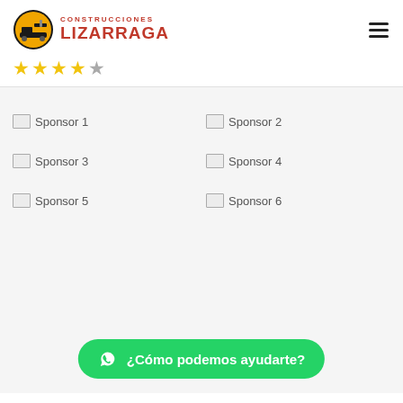CONSTRUCCIONES LIZARRAGA
[Figure (other): 4 filled yellow stars and 1 empty gray star rating]
[Figure (other): Broken image placeholder labeled Sponsor 1]
[Figure (other): Broken image placeholder labeled Sponsor 2]
[Figure (other): Broken image placeholder labeled Sponsor 3]
[Figure (other): Broken image placeholder labeled Sponsor 4]
[Figure (other): Broken image placeholder labeled Sponsor 5]
[Figure (other): Broken image placeholder labeled Sponsor 6]
¿Cómo podemos ayudarte?